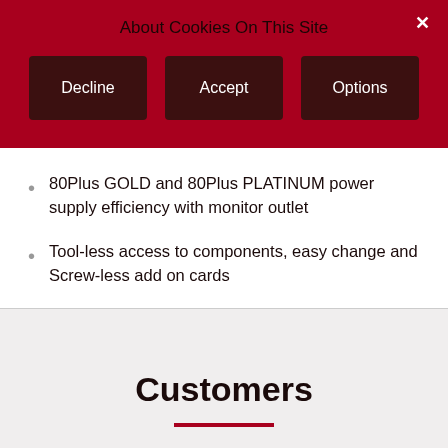About Cookies On This Site
× (close button)
Decline | Accept | Options
80Plus GOLD and 80Plus PLATINUM power supply efficiency with monitor outlet
Tool-less access to components, easy change and Screw-less add on cards
Customers